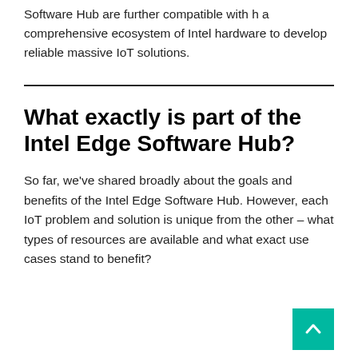Software Hub are further compatible with h a comprehensive ecosystem of Intel hardware to develop reliable massive IoT solutions.
What exactly is part of the Intel Edge Software Hub?
So far, we've shared broadly about the goals and benefits of the Intel Edge Software Hub. However, each IoT problem and solution is unique from the other – what types of resources are available and what exact use cases stand to benefit?